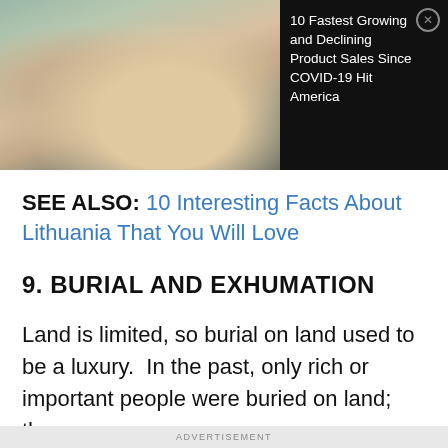[Figure (photo): Advertisement banner showing a person typing on a laptop with a credit card, overlaid with dark panel containing ad text and close button]
10 Fastest Growing and Declining Product Sales Since COVID-19 Hit America
SEE ALSO: 10 Interesting Facts About Lithuania That You Will Love
9. BURIAL AND EXHUMATION
Land is limited, so burial on land used to be a luxury.  In the past, only rich or important people were buried on land; the
ADVERTISEMENT